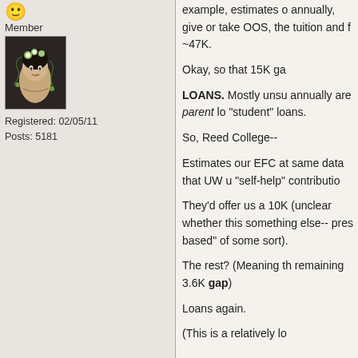[Figure (illustration): User icon smiley face emoji at top of left column]
Member
[Figure (photo): Avatar image of an illustrated woman with flowers in her hair against a dark background]
Registered: 02/05/11
Posts: 5181
example, estimates o annually, give or take OOS, the tuition and ~47K.
Okay, so that 15K ga
LOANS. Mostly unsu annually are parent lo "student" loans.
So, Reed College--
Estimates our EFC at same data that UW u "self-help" contributio
They'd offer us a 10K (unclear whether this something else-- pres based" of some sort).
The rest? (Meaning th remaining 3.6K gap)
Loans again.
(This is a relatively lo